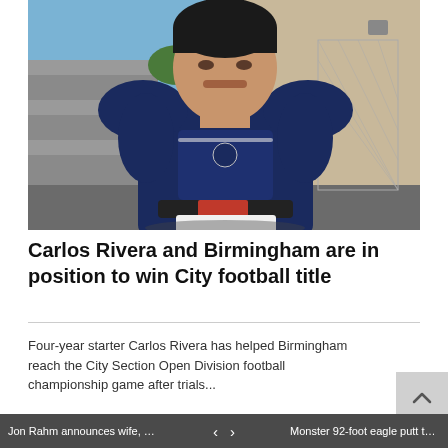[Figure (photo): A young male football player wearing a navy blue football jersey with shoulder pads, standing outdoors in front of a building with a chain-link fence. Blue sky is visible in the background.]
Carlos Rivera and Birmingham are in position to win City football title
Four-year starter Carlos Rivera has helped Birmingham reach the City Section Open Division football championship game after trials...
Jon Rahm announces wife, Kelle...  <  >  Monster 92-foot eagle putt to wi...